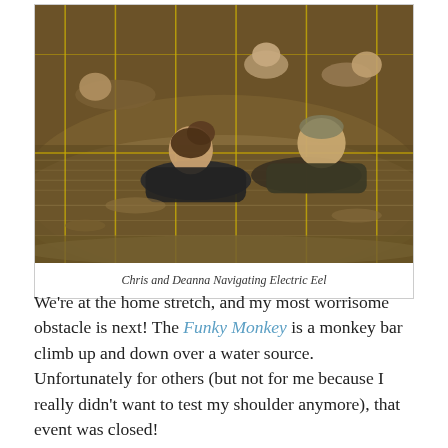[Figure (photo): People crawling through muddy water under barbed wire at an obstacle course race (Electric Eel obstacle). A woman with hair in a bun and a man are visible in the foreground, with other participants in the background.]
Chris and Deanna Navigating Electric Eel
We're at the home stretch, and my most worrisome obstacle is next! The Funky Monkey is a monkey bar climb up and down over a water source. Unfortunately for others (but not for me because I really didn't want to test my shoulder anymore), that event was closed!